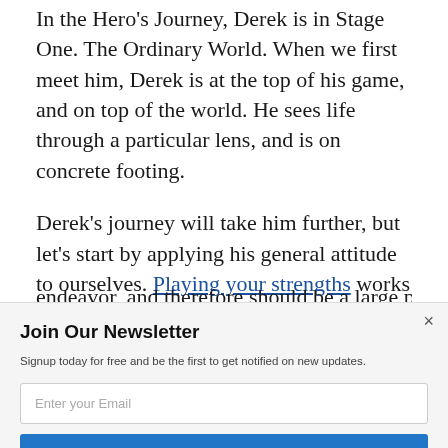In the Hero's Journey, Derek is in Stage One. The Ordinary World. When we first meet him, Derek is at the top of his game, and on top of the world. He sees life through a particular lens, and is on concrete footing.
Derek's journey will take him further, but let's start by applying his general attitude to ourselves. Playing your strengths works well in any endeavor, and therefore should be a large part of
[Figure (logo): POWERED BY SUMO logo banner]
Join Our Newsletter
Signup today for free and be the first to get notified on new updates.